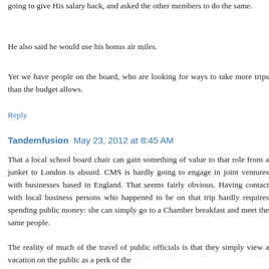going to give His salary back, and asked the other members to do the same.
He also said he would use his bonus air miles.
Yet we have people on the board, who are looking for ways to take more trips than the budget allows.
Reply
Tandemfusion May 23, 2012 at 8:45 AM
That a local school board chair can gain something of value to that role from a junket to London is absurd. CMS is hardly going to engage in joint ventures with businesses based in England. That seems fairly obvious. Having contact with local business persons who happened to be on that trip hardly requires spending public money: she can simply go to a Chamber breakfast and meet the same people.
The reality of much of the travel of public officials is that they simply view a vacation on the public as a perk of the